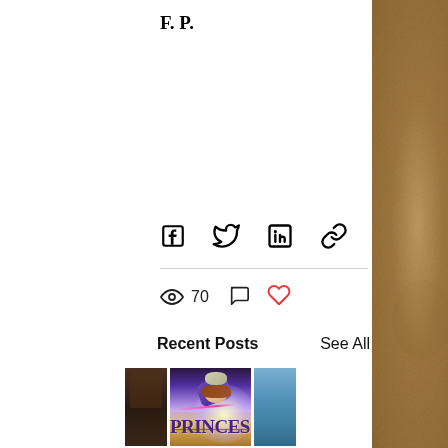F. P.
[Figure (infographic): Social share icons: Facebook, Twitter, LinkedIn, and link/chain icon]
[Figure (infographic): Stats row: eye icon with count 70, comment bubble icon, and red heart like icon on the right]
Recent Posts
See All
[Figure (photo): Three thumbnail images in a row. Left: partially visible dark interior scene. Center: Fantasy illustration of a character falling with 'PRINCESS' text in large stylized letters. Right: partially visible blue sky/water scene.]
[Figure (photo): Brown parchment textured sidebar on right edge of page]